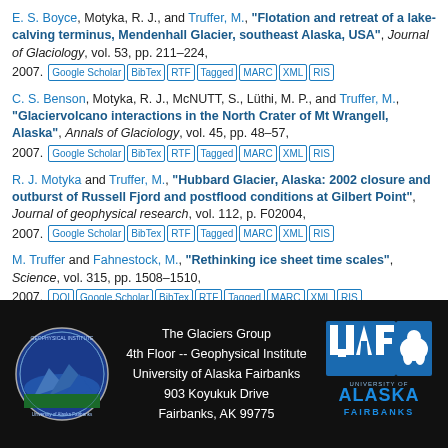E. S. Boyce, Motyka, R. J., and Truffer, M., "Flotation and retreat of a lake-calving terminus, Mendenhall Glacier, southeast Alaska, USA", Journal of Glaciology, vol. 53, pp. 211–224, 2007.
C. S. Benson, Motyka, R. J., McNUTT, S., Lüthi, M. P., and Truffer, M., "Glaciervolcano interactions in the North Crater of Mt Wrangell, Alaska", Annals of Glaciology, vol. 45, pp. 48–57, 2007.
R. J. Motyka and Truffer, M., "Hubbard Glacier, Alaska: 2002 closure and outburst of Russell Fjord and postflood conditions at Gilbert Point", Journal of geophysical research, vol. 112, p. F02004, 2007.
M. Truffer and Fahnestock, M., "Rethinking ice sheet time scales", Science, vol. 315, pp. 1508–1510, 2007.
[Figure (logo): Geophysical Institute University of Alaska circular seal logo]
The Glaciers Group
4th Floor -- Geophysical Institute
University of Alaska Fairbanks
903 Koyukuk Drive
Fairbanks, AK 99775
[Figure (logo): UAF University of Alaska Fairbanks logo]